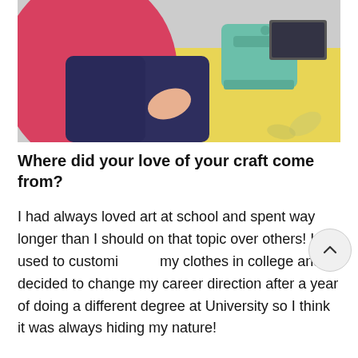[Figure (photo): A person wearing a pink top and dark blue apron or dress, holding their waist. In the background there is a teal/mint colored sewing machine, a yellow floral surface, and a laptop.]
Where did your love of your craft come from?
I had always loved art at school and spent way longer than I should on that topic over others! I used to customi my clothes in college and decided to change my career direction after a year of doing a different degree at University so I think it was always hiding my nature!